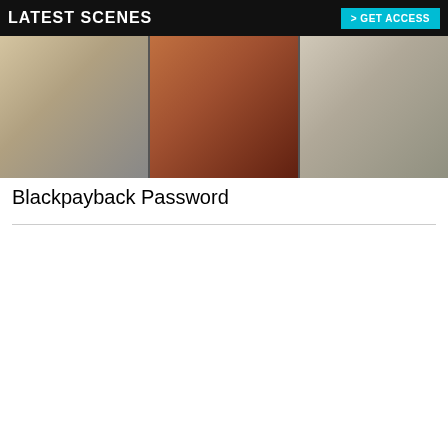[Figure (screenshot): Screenshot of adult website 'Blackpayback' showing 'LATEST SCENES' banner with cyan GET ACCESS button and three thumbnail images of performers]
Blackpayback Password
[Figure (screenshot): Screenshot of adult website 'LoveHerFeet' showing main scene image with GET FULL ACCESS NOW button and MOST VIEWED VIDEOS section with four thumbnails]